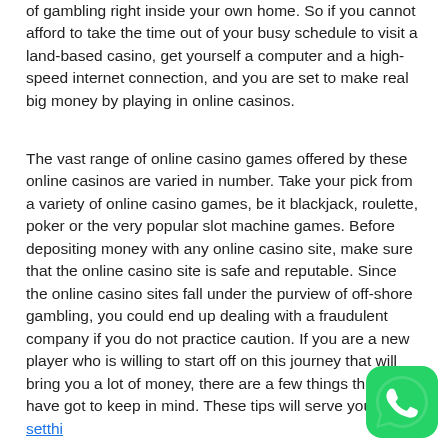of gambling right inside your own home. So if you cannot afford to take the time out of your busy schedule to visit a land-based casino, get yourself a computer and a high-speed internet connection, and you are set to make real big money by playing in online casinos.
The vast range of online casino games offered by these online casinos are varied in number. Take your pick from a variety of online casino games, be it blackjack, roulette, poker or the very popular slot machine games. Before depositing money with any online casino site, make sure that the online casino site is safe and reputable. Since the online casino sites fall under the purview of off-shore gambling, you could end up dealing with a fraudulent company if you do not practice caution. If you are a new player who is willing to start off on this journey that will bring you a lot of money, there are a few things that you have got to keep in mind. These tips will serve you well. setthi
[Figure (logo): WhatsApp green circular icon with phone handset graphic]